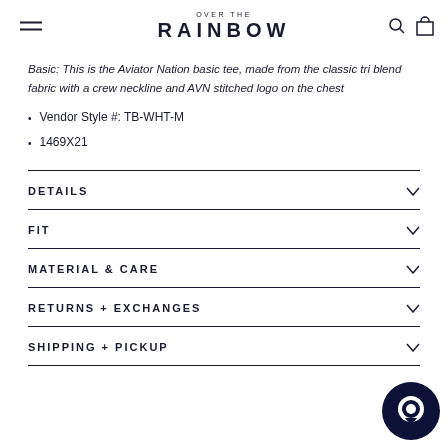OVER THE RAINBOW
Basic: This is the Aviator Nation basic tee, made from the classic tri blend fabric with a crew neckline and AVN stitched logo on the chest
Vendor Style #: TB-WHT-M
1469X21
DETAILS
FIT
MATERIAL & CARE
RETURNS + EXCHANGES
SHIPPING + PICKUP